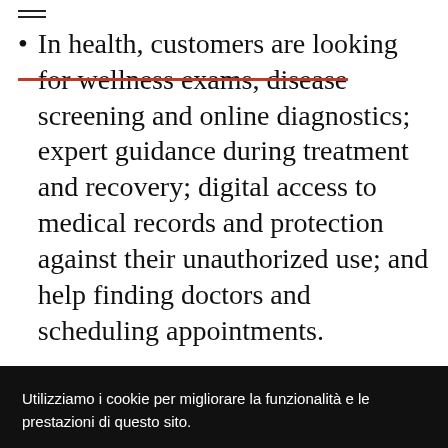In health, customers are looking for wellness exams, disease screening and online diagnostics; expert guidance during treatment and recovery; digital access to medical records and protection against their unauthorized use; and help finding doctors and scheduling appointments.
Utilizziamo i cookie per migliorare la funzionalità e le prestazioni di questo sito.
ACCETTA TUTTI I COOKIE